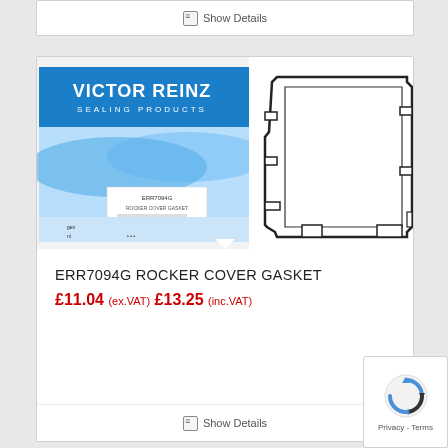Show Details
[Figure (photo): Victor Reinz Sealing Products packaging box (blue and white) alongside a black rocker cover gasket on white background]
ERR7094G ROCKER COVER GASKET
£11.04 (ex.VAT) £13.25 (inc.VAT)
Show Details
[Figure (logo): Google reCAPTCHA badge with Privacy and Terms links]